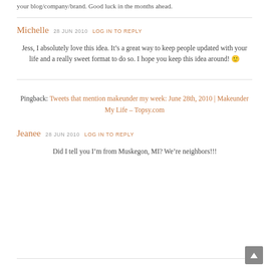your blog/company/brand. Good luck in the months ahead.
Michelle 28 JUN 2010 LOG IN TO REPLY
Jess, I absolutely love this idea. It’s a great way to keep people updated with your life and a really sweet format to do so. I hope you keep this idea around! 🙂
Pingback: Tweets that mention makeunder my week: June 28th, 2010 | Makeunder My Life -- Topsy.com
Jeanee 28 JUN 2010 LOG IN TO REPLY
Did I tell you I’m from Muskegon, MI? We’re neighbors!!!